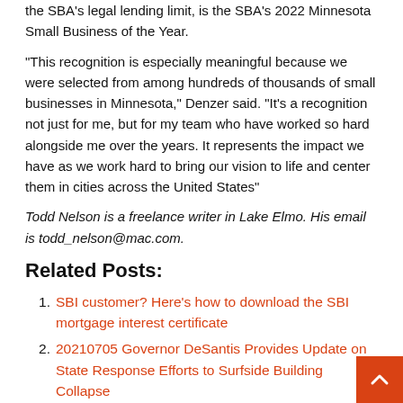the SBA's legal lending limit, is the SBA's 2022 Minnesota Small Business of the Year.
“This recognition is especially meaningful because we were selected from among hundreds of thousands of small businesses in Minnesota,” Denzer said. “It’s a recognition not just for me, but for my team who have worked so hard alongside me over the years. It represents the impact we have as we work hard to bring our vision to life and center them in cities across the United States”
Todd Nelson is a freelance writer in Lake Elmo. His email is todd_nelson@mac.com.
Related Posts:
SBI customer? Here’s how to download the SBI mortgage interest certificate
20210705 Governor DeSantis Provides Update on State Response Efforts to Surfside Building Collapse
Liam Walsh: Swansea City lead the pursuit of former